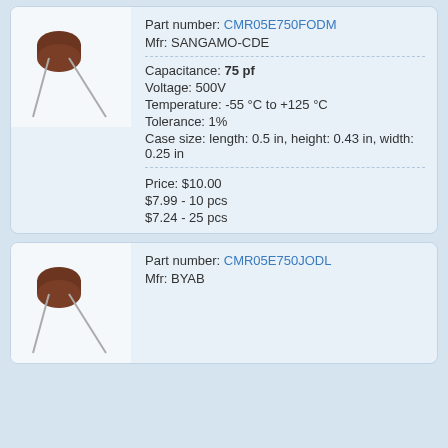[Figure (photo): Photo of a small brown ceramic disc capacitor with two metal leads, CMR05E750FODM]
Part number: CMR05E750FODM
Mfr: SANGAMO-CDE
Capacitance: 75 pf
Voltage: 500V
Temperature: -55 °C to +125 °C
Tolerance: 1%
Case size: length: 0.5 in, height: 0.43 in, width: 0.25 in
Price: $10.00
$7.99 - 10 pcs
$7.24 - 25 pcs
[Figure (photo): Photo of a small brown ceramic disc capacitor with two metal leads, CMR05E750JODL]
Part number: CMR05E750JODL
Mfr: BYAB